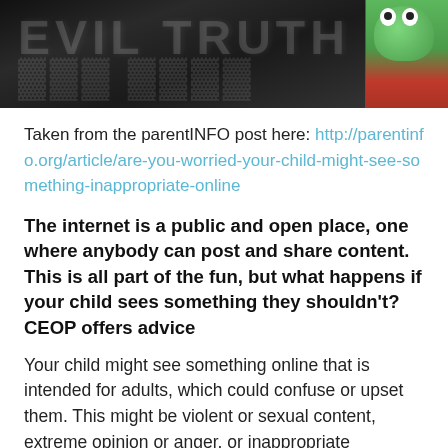[Figure (photo): Graffiti background image in dark tones with a cartoon character on the right side]
Taken from the parentINFO post here: http://parentinfo.org/article/are-you-worried-your-child-might-see-something-inappropriate-online
The internet is a public and open place, one where anybody can post and share content. This is all part of the fun, but what happens if your child sees something they shouldn't? CEOP offers advice
Your child might see something online that is intended for adults, which could confuse or upset them. This might be violent or sexual content, extreme opinion or anger, or inappropriate